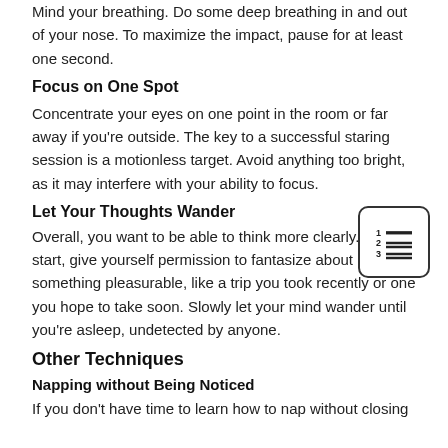Mind your breathing. Do some deep breathing in and out of your nose. To maximize the impact, pause for at least one second.
Focus on One Spot
Concentrate your eyes on one point in the room or far away if you're outside. The key to a successful staring session is a motionless target. Avoid anything too bright, as it may interfere with your ability to focus.
Let Your Thoughts Wander
Overall, you want to be able to think more clearly. So, to start, give yourself permission to fantasize about something pleasurable, like a trip you took recently or one you hope to take soon. Slowly let your mind wander until you're asleep, undetected by anyone.
Other Techniques
Napping without Being Noticed
If you don't have time to learn how to nap without closing